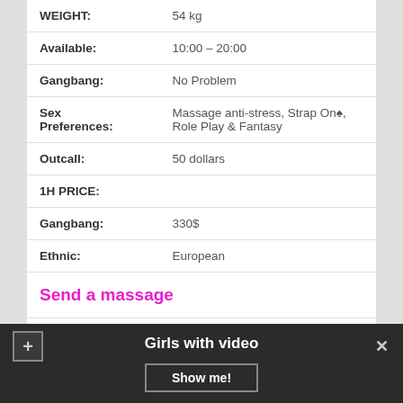| Label | Value |
| --- | --- |
| WEIGHT: | 54 kg |
| Available: | 10:00 – 20:00 |
| Gangbang: | No Problem |
| Sex Preferences: | Massage anti-stress, Strap On♠, Role Play & Fantasy |
| Outcall: | 50 dollars |
| 1H PRICE: |  |
| Gangbang: | 330$ |
| Ethnic: | European |
Send a massage
Girls with video
Show me!